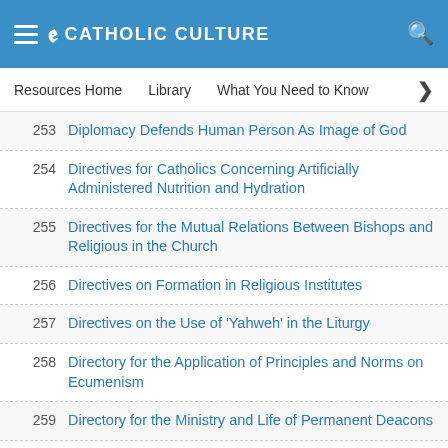CATHOLIC CULTURE
Resources Home   Library   What You Need to Know
253 Diplomacy Defends Human Person As Image of God
254 Directives for Catholics Concerning Artificially Administered Nutrition and Hydration
255 Directives for the Mutual Relations Between Bishops and Religious in the Church
256 Directives on Formation in Religious Institutes
257 Directives on the Use of 'Yahweh' in the Liturgy
258 Directory for the Application of Principles and Norms on Ecumenism
259 Directory for the Ministry and Life of Permanent Deacons
260 Directory for the Pastoral Ministry of Bishops
261 Directory of Shrines
262 Directory on Ecumenism for Southern Africa
263 Directory on Popular Piety and the Liturgy: Principles and Guidelines
264 Directory on the Ministry and Life of Priests